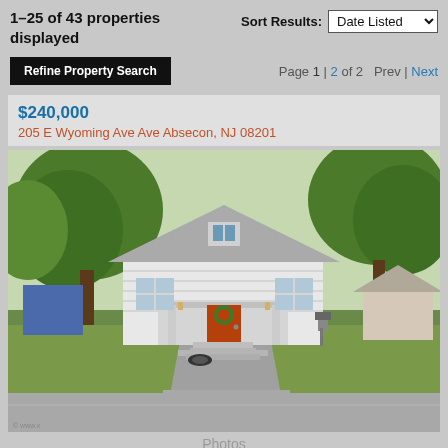1–25 of 43 properties displayed
Sort Results: Date Listed
Refine Property Search
Page 1 | 2 of 2  Prev | Next
$240,000
205 E Wyoming Ave Ave Absecon, NJ 08201
[Figure (photo): Exterior photo of a small white cottage-style house with a red front door, front porch with steps, green trees in background, driveway in foreground.]
Photos